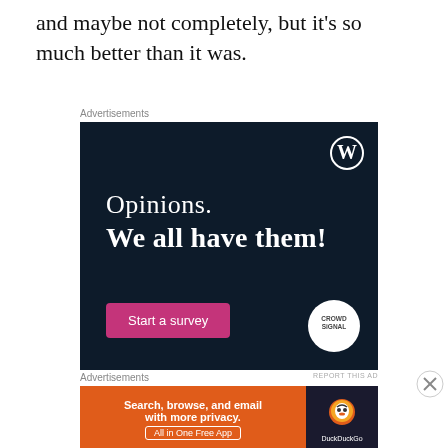and maybe not completely, but it's so much better than it was.
[Figure (illustration): WordPress advertisement banner with dark navy background. Shows WordPress logo (W in circle) top right, text 'Opinions. We all have them!', a pink 'Start a survey' button, and CrowdSignal logo bottom right.]
[Figure (illustration): DuckDuckGo advertisement banner. Orange left section with text 'Search, browse, and email with more privacy. All in One Free App'. Dark right section with DuckDuckGo duck logo and text 'DuckDuckGo'.]